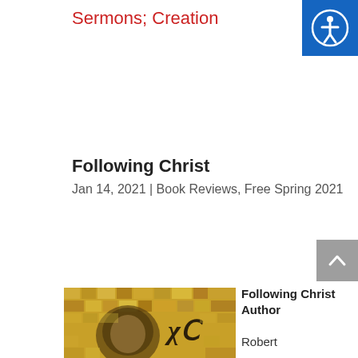Sermons; Creation
[Figure (other): Accessibility icon button (person with circle) on blue background, top right corner]
Following Christ
Jan 14, 2021 | Book Reviews, Free Spring 2021
[Figure (other): Scroll to top arrow button on grey background]
[Figure (photo): Byzantine mosaic image of Christ, gold and dark tones, with Greek letters XC visible]
Following Christ
Author
Robert